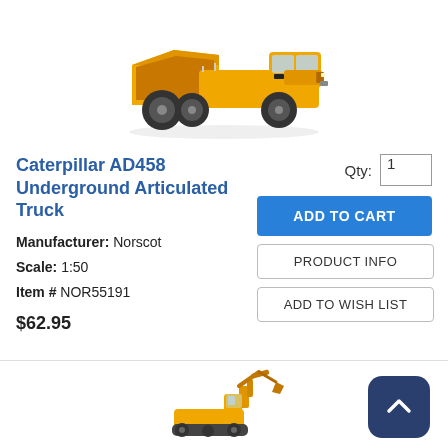[Figure (photo): Yellow Caterpillar AD458 Underground Articulated Truck scale model, side and front view, on white background]
Caterpillar AD458 Underground Articulated Truck
Manufacturer: Norscot
Scale: 1:50
Item # NOR55191
$62.95
[Figure (photo): Partial yellow scale model construction vehicle, bottom of page]